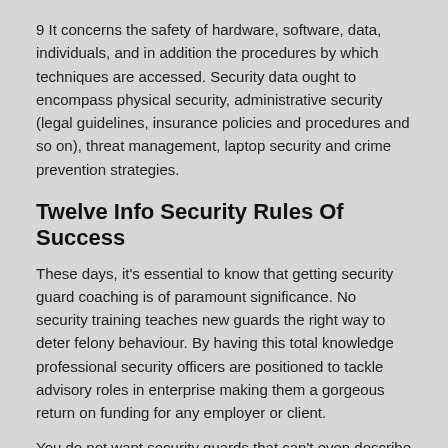9 It concerns the safety of hardware, software, data, individuals, and in addition the procedures by which techniques are accessed. Security data ought to encompass physical security, administrative security (legal guidelines, insurance policies and procedures and so on), threat management, laptop security and crime prevention strategies.
Twelve Info Security Rules Of Success
These days, it’s essential to know that getting security guard coaching is of paramount significance. No security training teaches new guards the right way to deter felony behaviour. By having this total knowledge professional security officers are positioned to tackle advisory roles in enterprise making them a gorgeous return on funding for any employer or client.
You do not want security guards that can’t even describe a photographed individual. He had additionally asked for a second security guard, however the security firm he labored for did not take the threats critical. A. A bunch or division of private guards: Call constructing security if a customer acts suspicious.